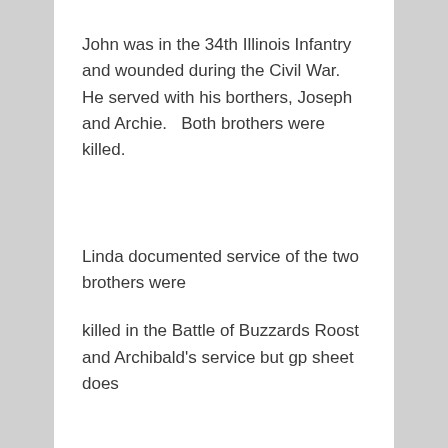John was in the 34th Illinois Infantry and wounded during the Civil War.   He served with his borthers, Joseph and Archie.   Both brothers were killed.
Linda documented service of the two brothers were
killed in the Battle of Buzzards Roost and Archibald's service but gp sheet does